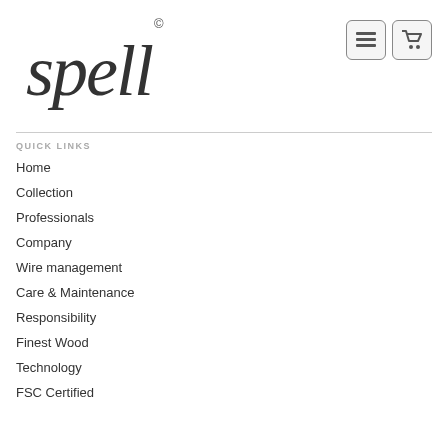[Figure (logo): Spell logo with copyright symbol, stylized cursive text]
QUICK LINKS
Home
Collection
Professionals
Company
Wire management
Care & Maintenance
Responsibility
Finest Wood
Technology
FSC Certified